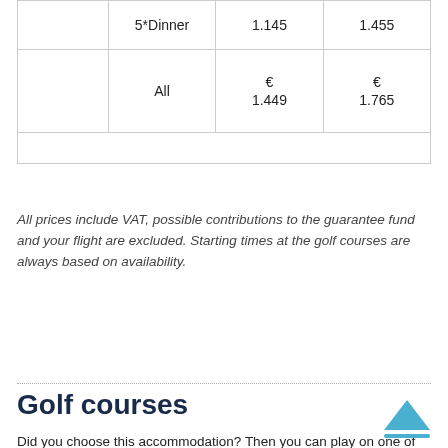|  | 5*Dinner | 1.145 | 1.455 |
|  | All | € 1.449 | € 1.765 |
All prices include VAT, possible contributions to the guarantee fund and your flight are excluded. Starting times at the golf courses are always based on availability.
Golf courses
Did you choose this accommodation? Then you can play on one of the adjacent courses (among others off course): *
In addition and depending on your duration of